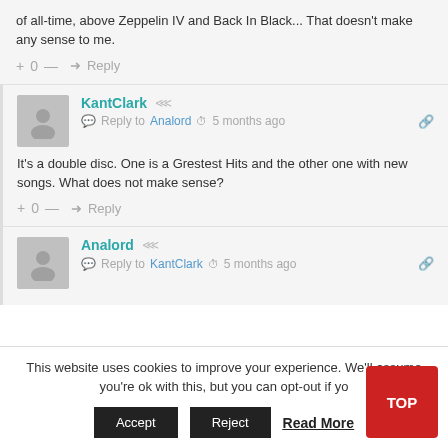of all-time, above Zeppelin IV and Back In Black... That doesn't make any sense to me.
+ 0 — ➜ Reply
KantClark
Reply to Analord • 5 months ago
It's a double disc. One is a Grestest Hits and the other one with new songs. What does not make sense?
+ 0 — ➜ Reply
Analord
Reply to KantClark • 5 months ago
This website uses cookies to improve your experience. We'll assume you're ok with this, but you can opt-out if yo
Accept  Reject  Read More